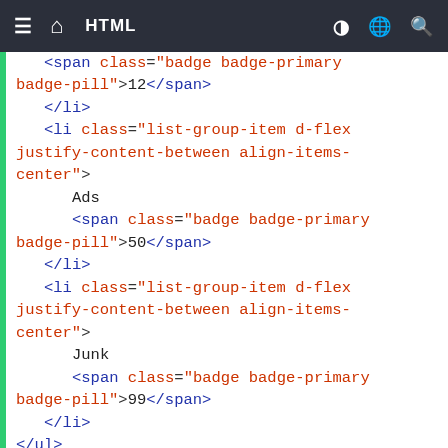≡  🏠  HTML  ◑  🌐  🔍
<span class="badge badge-primary badge-pill">12</span>
    </li>
    <li class="list-group-item d-flex justify-content-between align-items-center">
        Ads
        <span class="badge badge-primary badge-pill">50</span>
    </li>
    <li class="list-group-item d-flex justify-content-between align-items-center">
        Junk
        <span class="badge badge-primary badge-pill">99</span>
    </li>
</ul>